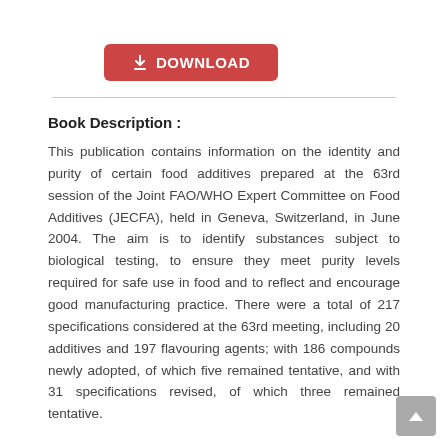[Figure (other): Red download button with download icon and text DOWNLOAD]
Book Description :
This publication contains information on the identity and purity of certain food additives prepared at the 63rd session of the Joint FAO/WHO Expert Committee on Food Additives (JECFA), held in Geneva, Switzerland, in June 2004. The aim is to identify substances subject to biological testing, to ensure they meet purity levels required for safe use in food and to reflect and encourage good manufacturing practice. There were a total of 217 specifications considered at the 63rd meeting, including 20 additives and 197 flavouring agents; with 186 compounds newly adopted, of which five remained tentative, and with 31 specifications revised, of which three remained tentative.